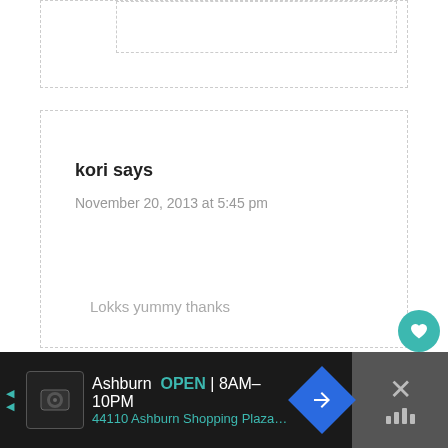[Figure (screenshot): Top comment card border dashed, partially visible]
kori says
November 20, 2013 at 5:45 pm
Lokks yummy thanks
Reply
[Figure (screenshot): Advertisement bar at bottom: Ashburn OPEN 8AM-10PM, 44110 Ashburn Shopping Plaza...]